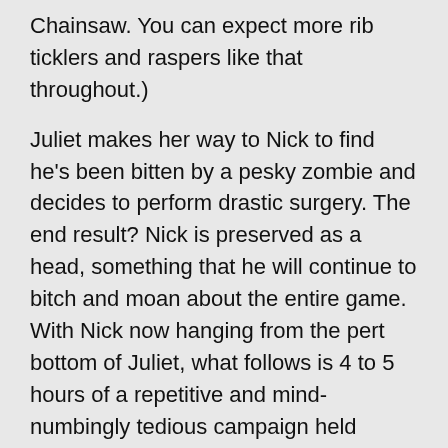Chainsaw. You can expect more rib ticklers and raspers like that throughout.)
Juliet makes her way to Nick to find he's been bitten by a pesky zombie and decides to perform drastic surgery. The end result? Nick is preserved as a head, something that he will continue to bitch and moan about the entire game. With Nick now hanging from the pert bottom of Juliet, what follows is 4 to 5 hours of a repetitive and mind-numbingly tedious campaign held together by an utterly uninspiring and completely unfunny story.
Buzzkill